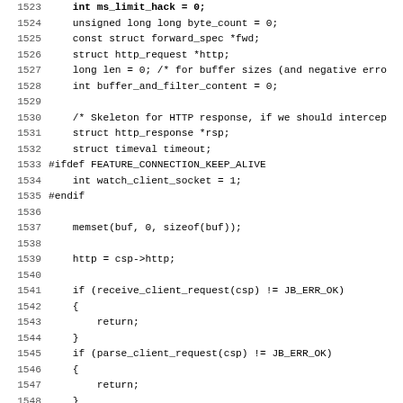[Figure (other): Source code listing in C, lines 1523-1555, showing variable declarations and HTTP request handling logic including receive_client_request, parse_client_request, and forward_url calls.]